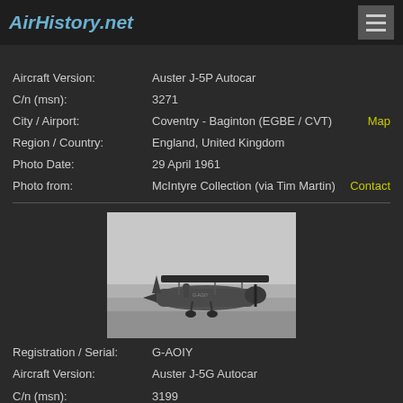AirHistory.net
Aircraft Version: Auster J-5P Autocar
C/n (msn): 3271
City / Airport: Coventry - Baginton (EGBE / CVT)   Map
Region / Country: England, United Kingdom
Photo Date: 29 April 1961
Photo from: McIntyre Collection (via Tim Martin)   Contact
[Figure (photo): Black and white photograph of an Auster J-5G Autocar light aircraft parked on grass at Coventry - Baginton airport, showing side profile with visible propeller and registration markings.]
Registration / Serial: G-AOIY
Aircraft Version: Auster J-5G Autocar
C/n (msn): 3199
City / Airport: Coventry - Baginton (EGBE / CVT)   Map